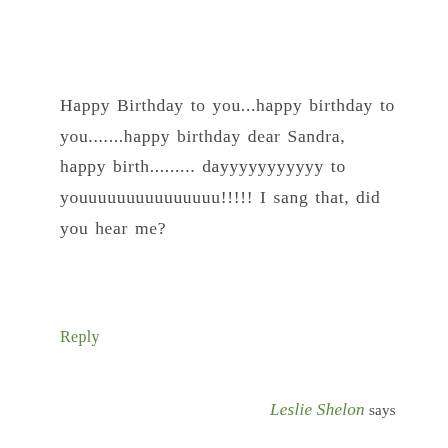Happy Birthday to you...happy birthday to you.......happy birthday dear Sandra, happy birth......... dayyyyyyyyyyy to youuuuuuuuuuuuuuu!!!!! I sang that, did you hear me?
Reply
Leslie Shelon says